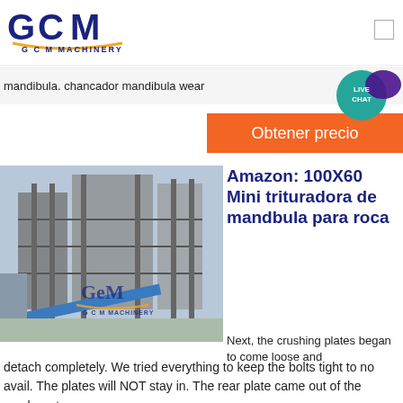[Figure (logo): GCM Machinery logo with blue stylized GCM letters and orange underline, text G C M MACHINERY below]
[Figure (illustration): Live chat speech bubble icon with teal circle and purple chat bubble, text LIVE CHAT]
mandibula. chancador mandibula wear
[Figure (other): Orange button with white text Obtener precio]
[Figure (photo): Industrial crushing/processing plant facility with GCM Machinery logo watermark]
Amazon: 100X60 Mini trituradora de mandbula para roca
Next, the crushing plates began to come loose and detach completely. We tried everything to keep the bolts tight to no avail. The plates will NOT stay in. The rear plate came out of the crusher at a